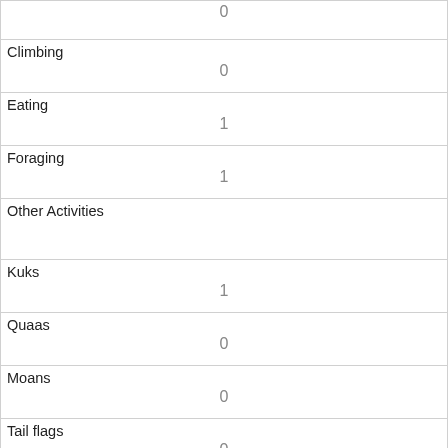| Activity/Behavior | Count |
| --- | --- |
| (top row value) | 0 |
| Climbing | 0 |
| Eating | 1 |
| Foraging | 1 |
| Other Activities |  |
| Kuks | 1 |
| Quaas | 0 |
| Moans | 0 |
| Tail flags | 0 |
| Tail twitches | 1 |
| Approaches | 0 |